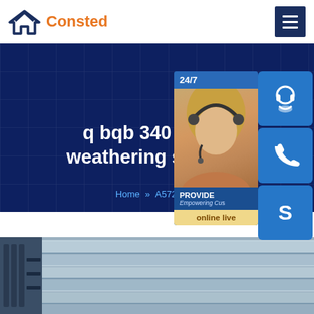[Figure (logo): Consted company logo with house icon in dark blue and orange text]
q bqb 340 b480g weathering steel pla
Home » A572 steel
[Figure (infographic): Customer service widget showing 24/7 availability, contact photo of woman with headset, and PROVIDE / Empowering Customers text with online live button]
[Figure (photo): Steel plates stacked in warehouse/storage area]